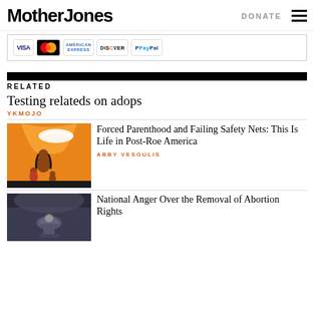Mother Jones | DONATE
[Figure (other): Payment method logos: VISA, MasterCard, American Express, Discover, PayPal]
RELATED
Testing relateds on adops
YKMOJO
[Figure (illustration): Orange illustration of a woman holding children, with large orange hand above]
Forced Parenthood and Failing Safety Nets: This Is Life in Post-Roe America
ABBY VESOULIS
[Figure (photo): Dark photo of Capitol building]
National Anger Over the Removal of Abortion Rights